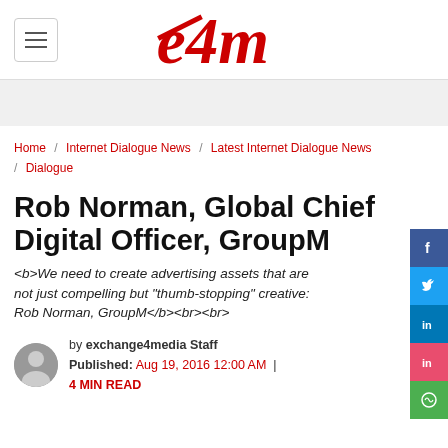e4m logo with hamburger menu
Home / Internet Dialogue News / Latest Internet Dialogue News / Dialogue
Rob Norman, Global Chief Digital Officer, GroupM
<b>We need to create advertising assets that are not just compelling but "thumb-stopping" creative: Rob Norman, GroupM</b><br><br>
by exchange4media Staff
Published: Aug 19, 2016 12:00 AM | 4 MIN READ